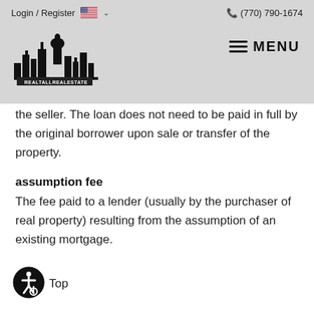Login / Register   🇺🇸 ∨   (770) 790-1674
[Figure (logo): RealTallRealEstate logo with city skyline silhouette]
the seller. The loan does not need to be paid in full by the original borrower upon sale or transfer of the property.
assumption fee
The fee paid to a lender (usually by the purchaser of real property) resulting from the assumption of an existing mortgage.
Top